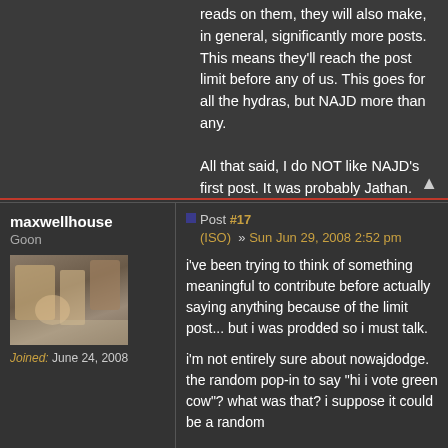reads on them, they will also make, in general, significantly more posts. This means they'll reach the post limit before any of us. This goes for all the hydras, but NAJD more than any.

All that said, I do NOT like NAJD's first post. It was probably Jathan.
maxwellhouse
Goon
Joined: June 24, 2008
Post #17 (ISO) » Sun Jun 29, 2008 2:52 pm
i've been trying to think of something meaningful to contribute before actually saying anything because of the limit post... but i was prodded so i must talk.

i'm not entirely sure about nowajdodge. the random pop-in to say "hi i vote green cow"? what was that? i suppose it could be a random